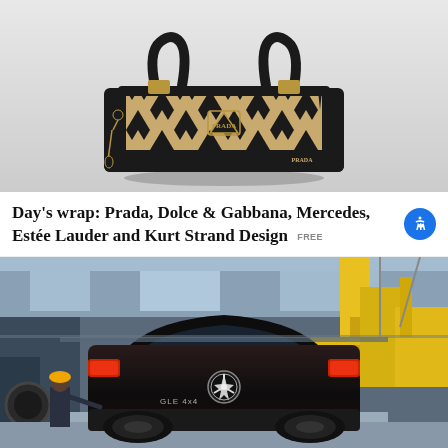[Figure (photo): Prada handbag with black and tan/beige geometric triangle pattern, black leather handles and trim, gold hardware including Prada triangle logo, on a light gray background]
Day’s wrap: Prada, Dolce & Gabbana, Mercedes, Estée Lauder and Kurt Strand Design FREE
[Figure (photo): Black Mercedes GLE 4x4 SUV on an assembly line in a factory, viewed from the rear, surrounded by yellow industrial equipment and workers]